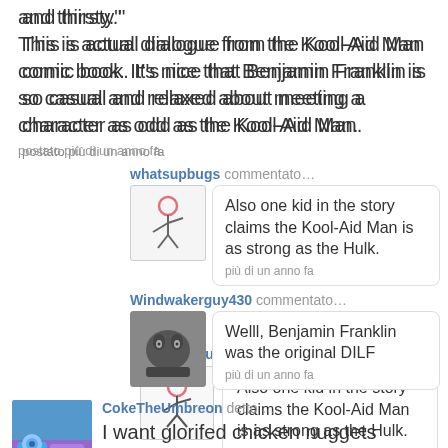and thirsty."
This is actual dialogue from the Kool-Aid Man comic book. It's nice that Benjamin Franklin is so casual and relaxed about meeting a character as odd as the Kool-Aid Man.
postato più di un anno fa
whatsupbugs commentato…
Also one kid in the story claims the Kool-Aid Man is as strong as the Hulk.
pià di un anno fa
Windwakerguy430 commentato…
Welll, Benjamin Franklin was the original DILF
pià di un anno fa
CokeTheUmbreon detto …
I want glorifed chicken nuggets [boneless wings].
postato più di un anno fa